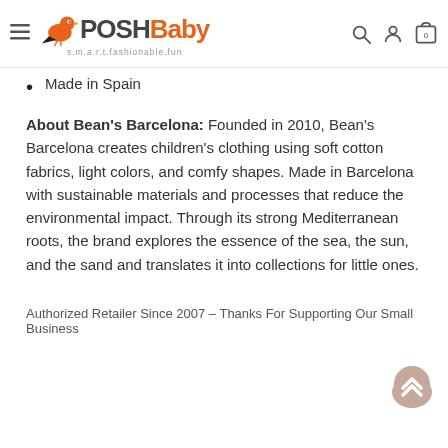POSH Baby — smart.fashionable.fun
Made in Spain
About Bean's Barcelona: Founded in 2010, Bean's Barcelona creates children's clothing using soft cotton fabrics, light colors, and comfy shapes. Made in Barcelona with sustainable materials and processes that reduce the environmental impact. Through its strong Mediterranean roots, the brand explores the essence of the sea, the sun, and the sand and translates it into collections for little ones.
Authorized Retailer Since 2007 – Thanks For Supporting Our Small Business